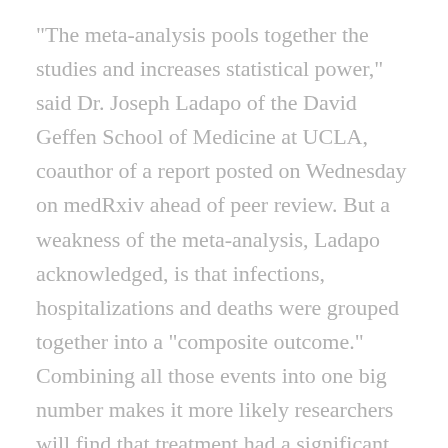“The meta-analysis pools together the studies and increases statistical power,” said Dr. Joseph Ladapo of the David Geffen School of Medicine at UCLA, coauthor of a report posted on Wednesday on medRxiv ahead of peer review. But a weakness of the meta-analysis, Ladapo acknowledged, is that infections, hospitalizations and deaths were grouped together into a “composite outcome.” Combining all those events into one big number makes it more likely researchers will find that treatment had a significant effect. Coauthor Dr. Harvey Risch of the Yale School of Public Health noted that seven nonrandomized controlled trials have also shown